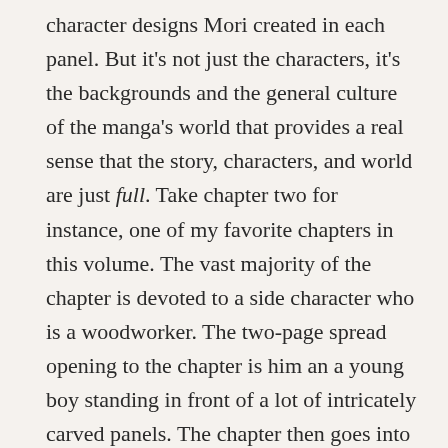character designs Mori created in each panel. But it's not just the characters, it's the backgrounds and the general culture of the manga's world that provides a real sense that the story, characters, and world are just full. Take chapter two for instance, one of my favorite chapters in this volume. The vast majority of the chapter is devoted to a side character who is a woodworker. The two-page spread opening to the chapter is him an a young boy standing in front of a lot of intricately carved panels. The chapter then goes into the techniques he uses and what he creates, including how the homes in this village are made. Presenting this story with all its artistic detail creates a world full of culture, giving the story itself a solid backdrop from which it can unfold.